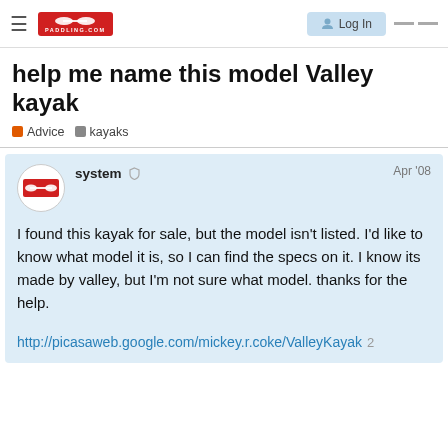PADDLING.COM — Log In
help me name this model Valley kayak
Advice  kayaks
system  Apr '08

I found this kayak for sale, but the model isn't listed. I'd like to know what model it is, so I can find the specs on it. I know its made by valley, but I'm not sure what model. thanks for the help.

http://picasaweb.google.com/mickey.r.coke/ValleyKayak  2